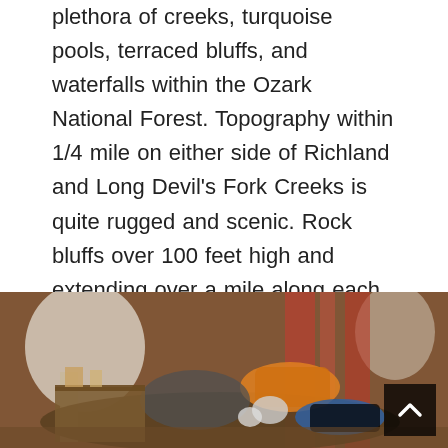plethora of creeks, turquoise pools, terraced bluffs, and waterfalls within the Ozark National Forest. Topography within 1/4 mile on either side of Richland and Long Devil's Fork Creeks is quite rugged and scenic. Rock bluffs over 100 feet high and extending over a mile along each side of Richland Creek. There is a system of old logging roads that run throughout the area and receive sporadic use. Kayakers float Richland Creek after rains have raised the creek water level.
[Figure (photo): A photograph of a cluttered indoor room showing piles of gear and clothing on a surface, with lamps, curtains, and other objects in the background. A dark button with an upward chevron arrow is visible in the lower right corner.]